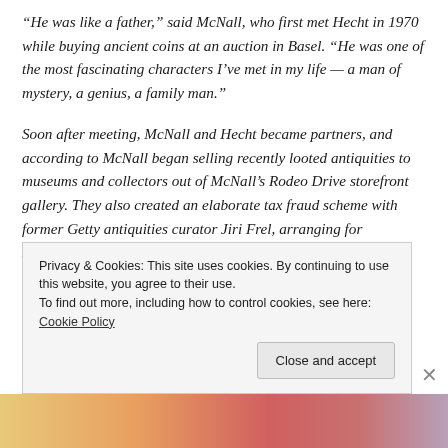“He was like a father,” said McNall, who first met Hecht in 1970 while buying ancient coins at an auction in Basel. “He was one of the most fascinating characters I’ve met in my life — a man of mystery, a genius, a family man.”
Soon after meeting, McNall and Hecht became partners, and according to McNall began selling recently looted antiquities to museums and collectors out of McNall’s Rodeo Drive storefront gallery. They also created an elaborate tax fraud scheme with former Getty antiquities curator Jiri Frel, arranging for Hollywood figures to donate looted antiquities to the Getty in
Privacy & Cookies: This site uses cookies. By continuing to use this website, you agree to their use.
To find out more, including how to control cookies, see here: Cookie Policy
Close and accept